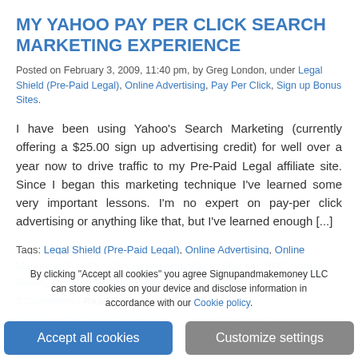MY YAHOO PAY PER CLICK SEARCH MARKETING EXPERIENCE
Posted on February 3, 2009, 11:40 pm, by Greg London, under Legal Shield (Pre-Paid Legal), Online Advertising, Pay Per Click, Sign up Bonus Sites.
I have been using Yahoo's Search Marketing (currently offering a $25.00 sign up advertising credit) for well over a year now to drive traffic to my Pre-Paid Legal affiliate site. Since I began this marketing technique I've learned some very important lessons. I'm no expert on pay-per click advertising or anything like that, but I've learned enough [...]
Tags: Legal Shield (Pre-Paid Legal), Online Advertising, Online Marketing, Pay Per Click Advertising, Pay to Sign Up, PPC, Sign up Bonus, Targeted Visitors, Yahoo Search Marketing
2 Comments | Read the rest of this entry »
By clicking "Accept all cookies" you agree Signupandmakemoney LLC can store cookies on your device and disclose information in accordance with our Cookie policy.